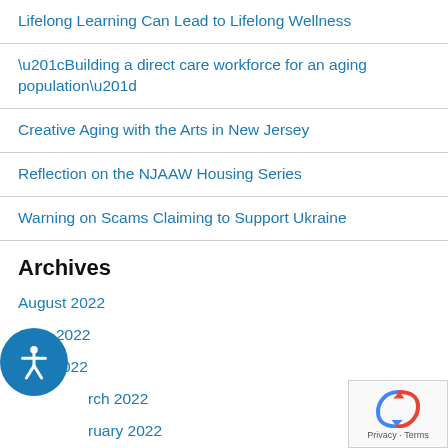Lifelong Learning Can Lead to Lifelong Wellness
“Building a direct care workforce for an aging population”
Creative Aging with the Arts in New Jersey
Reflection on the NJAAW Housing Series
Warning on Scams Claiming to Support Ukraine
Archives
August 2022
June 2022
April 2022
March 2022
February 2022
January 2022
December 2021